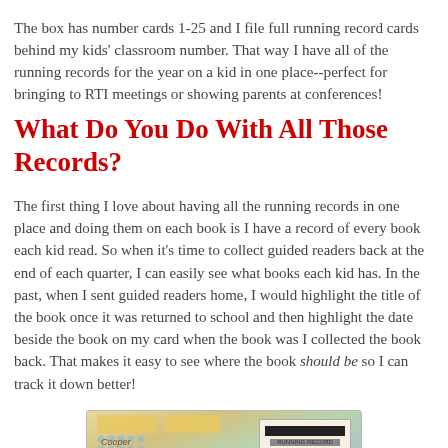The box has number cards 1-25 and I file full running record cards behind my kids' classroom number.  That way I have all of the running records for the year on a kid in one place--perfect for bringing to RTI meetings or showing parents at conferences!
What Do You Do With All Those Records?
The first thing I love about having all the running records in one place and doing them on each book is I have a record of every book each kid read.  So when it's time to collect guided readers back at the end of each quarter, I can easily see what books each kid has.  In the past, when I sent guided readers home, I would highlight the title of the book once it was returned to school and then highlight the date beside the book on my card when the book was I collected the book back.  That makes it easy to see where the book should be so I can track it down better!
[Figure (photo): Photo of a file box with tabbed folders labeled with student names (Cooper, Jax, Avery) and a running record card visible on the right side]